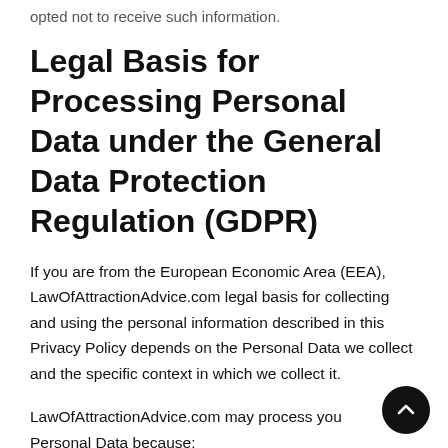opted not to receive such information.
Legal Basis for Processing Personal Data under the General Data Protection Regulation (GDPR)
If you are from the European Economic Area (EEA), LawOfAttractionAdvice.com legal basis for collecting and using the personal information described in this Privacy Policy depends on the Personal Data we collect and the specific context in which we collect it.
LawOfAttractionAdvice.com may process your Personal Data because: